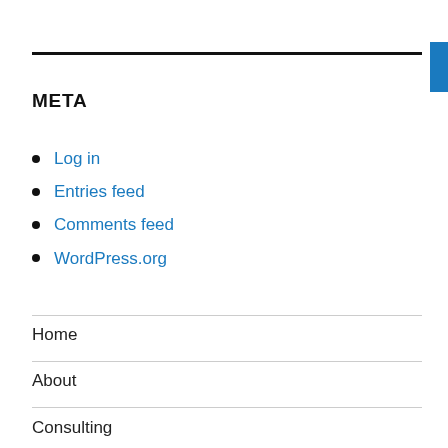META
Log in
Entries feed
Comments feed
WordPress.org
Home
About
Consulting